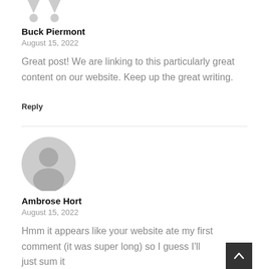[Figure (illustration): Small avatar icon (grey silhouette with down-pointing triangle shapes) for Buck Piermont at top of page]
Buck Piermont
August 15, 2022
Great post! We are linking to this particularly great content on our website. Keep up the great writing.
Reply
[Figure (illustration): Large circular grey avatar icon with person silhouette for Ambrose Hort]
Ambrose Hort
August 15, 2022
Hmm it appears like your website ate my first comment (it was super long) so I guess I'll just sum it